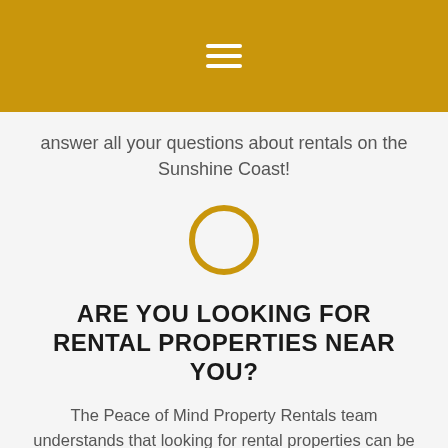answer all your questions about rentals on the Sunshine Coast!
[Figure (illustration): Gold circle outline icon]
ARE YOU LOOKING FOR RENTAL PROPERTIES NEAR YOU?
The Peace of Mind Property Rentals team understands that looking for rental properties can be time consuming and frustrating. From the struggle of reaching property owners who may never call you back, to making sure you